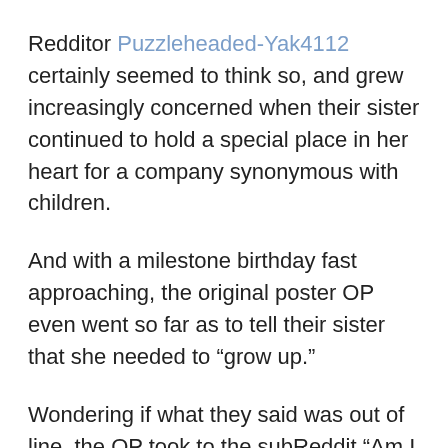Redditor Puzzleheaded-Yak4112 certainly seemed to think so, and grew increasingly concerned when their sister continued to hold a special place in her heart for a company synonymous with children.
And with a milestone birthday fast approaching, the original poster OP even went so far as to tell their sister that she needed to “grow up.”
Wondering if what they said was out of line, the OP took to the subReddit “Am I The A**hole” (AITA), where they asked fellow Redditors:
[Figure (other): Large opening quotation marks (“) centered at the bottom of the page]